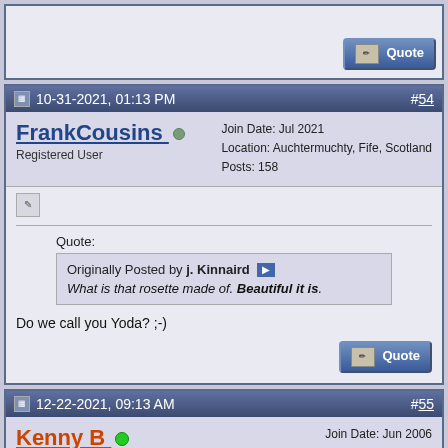[Figure (screenshot): Top of a forum post with a Quote button visible at bottom right]
10-31-2021, 01:13 PM  #54
FrankCousins  Registered User  Join Date: Jul 2021  Location: Auchtermuchty, Fife, Scotland  Posts: 158
Quote:
Originally Posted by j. Kinnaird
What is that rosette made of. Beautiful it is.

Do we call you Yoda? ;-)
12-22-2021, 09:13 AM  #55
Kenny B  Charter Member  Join Date: Jun 2006  Location: Elgin, IL  Posts: 517
I saw the completed pics of this guitar on my Facebook feed this morning and it is spectacular! A Jason Kostal masterpiece in every sense of the word!